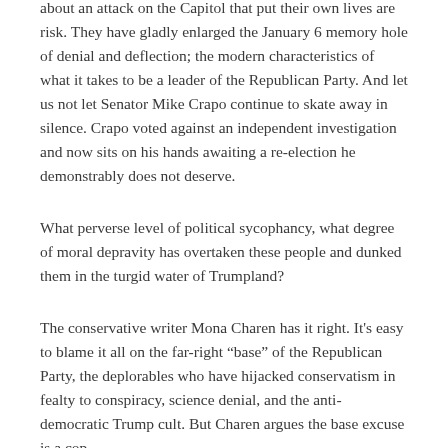about an attack on the Capitol that put their own lives are risk. They have gladly enlarged the January 6 memory hole of denial and deflection; the modern characteristics of what it takes to be a leader of the Republican Party. And let us not let Senator Mike Crapo continue to skate away in silence. Crapo voted against an independent investigation and now sits on his hands awaiting a re-election he demonstrably does not deserve.
What perverse level of political sycophancy, what degree of moral depravity has overtaken these people and dunked them in the turgid water of Trumpland?
The conservative writer Mona Charen has it right. It's easy to blame it all on the far-right “base” of the Republican Party, the deplorables who have hijacked conservatism in fealty to conspiracy, science denial, and the anti-democratic Trump cult. But Charen argues the base excuse is a cop